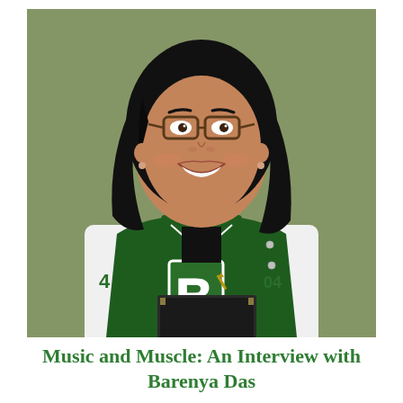[Figure (photo): A smiling young woman with dark shoulder-length hair wearing glasses, a green and white varsity/letterman jacket with the letter B, and a black top with a delicate necklace. She is holding a dark binder/folder. The background is a muted olive/green textured wall.]
Music and Muscle: An Interview with Barenya Das